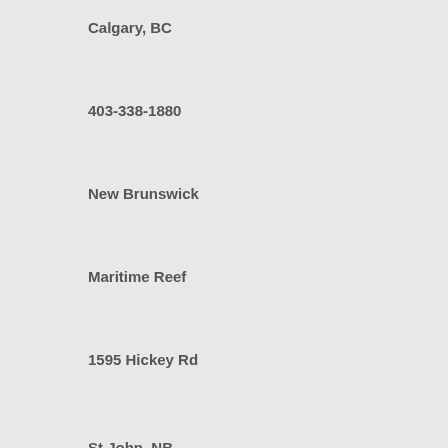Calgary, BC
403-338-1880
New Brunswick
Maritime Reef
1595 Hickey Rd
St John, NB
506-721-6743
Ontario
Advanced Reef Aquatics
4–18 Thompson Rd N
Milton, ON
905-693-6363
Aquariums by Design